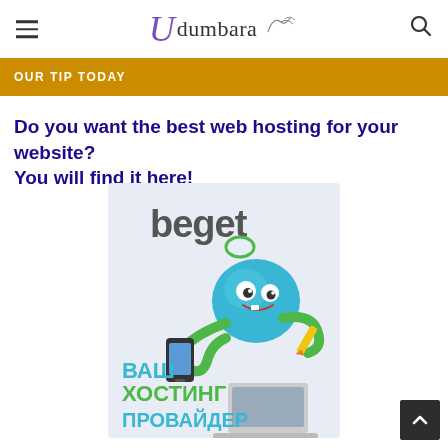Udumbara
OUR TIP TODAY
Do you want the best web hosting for your website? You will find it here!
[Figure (illustration): Beget web hosting advertisement with a cartoon octopus holding a phone and pencil next to a laptop, with Russian text 'ВАШ ХОСТИНГ ПРОВАЙДЕР' (Your hosting provider) and the Beget logo]
[Figure (other): Scroll-to-top button in bottom right corner]